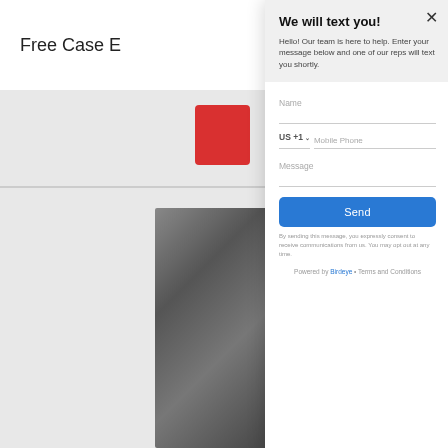We will text you!
Hello! Our team is here to help. Enter your message below and one of our reps will text you shortly.
Name
US +1   Mobile Phone
Message
Send
By sending this message, you expressly consent to receive communications from us. You may opt out at any time.
Powered by Birdeye • Terms and Conditions